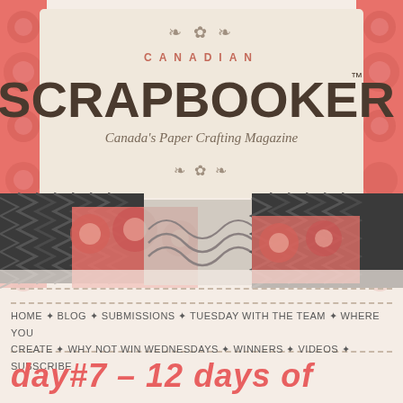[Figure (logo): Canadian Scrapbooker magazine logo on cream/beige background with decorative ornaments, flanked by coral/pink floral patterned strips on the sides. Below the logo box are layered patterned paper strips in coral floral and black/grey chevron designs.]
Home ✦ Blog ✦ Submissions ✦ Tuesday with the Team ✦ Where You Create ✦ Why Not Win Wednesdays ✦ Winners ✦ Videos ✦ Subscribe
day#7 – 12 days of